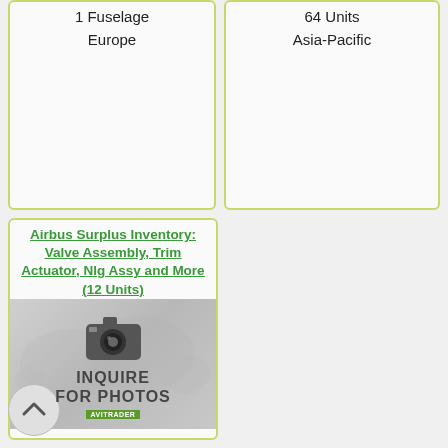1 Fuselage
Europe
64 Units
Asia-Pacific
Airbus Surplus Inventory: Valve Assembly, Trim Actuator, Nlg Assy and More (12 Units)
[Figure (photo): Placeholder image with camera icon and text INQUIRE FOR PHOTOS]
(0 bids)
12 Units
North America
End Date: Sep-02-22 09:00 AM CST